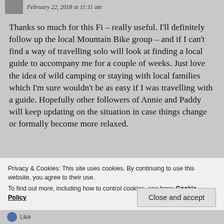February 22, 2018 at 11:11 am
Thanks so much for this Fi – really useful. I'll definitely follow up the local Mountain Bike group – and if I can't find a way of travelling solo will look at finding a local guide to accompany me for a couple of weeks. Just love the idea of wild camping or staying with local families which I'm sure wouldn't be as easy if I was travelling with a guide. Hopefully other followers of Annie and Paddy will keep updating on the situation in case things change or formally become more relaxed.
Privacy & Cookies: This site uses cookies. By continuing to use this website, you agree to their use.
To find out more, including how to control cookies, see here: Cookie Policy
Close and accept
Like